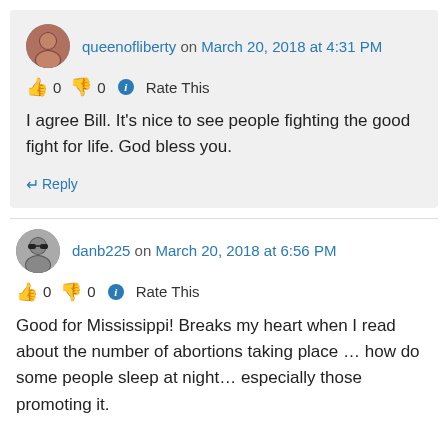queenofliberty on March 20, 2018 at 4:31 PM
👍 0 👎 0 ℹ Rate This
I agree Bill. It's nice to see people fighting the good fight for life. God bless you.
↵ Reply
danb225 on March 20, 2018 at 6:56 PM
👍 0 👎 0 ℹ Rate This
Good for Mississippi! Breaks my heart when I read about the number of abortions taking place … how do some people sleep at night… especially those promoting it.